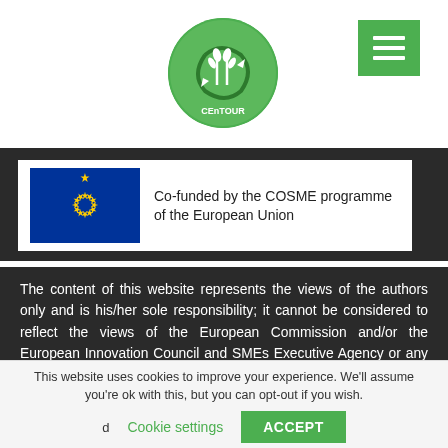[Figure (logo): CEnTOUR green circular logo with wheat/leaf motifs]
[Figure (other): Green menu/hamburger button icon]
[Figure (other): EU flag with text: Co-funded by the COSME programme of the European Union]
The content of this website represents the views of the authors only and is his/her sole responsibility; it cannot be considered to reflect the views of the European Commission and/or the European Innovation Council and SMEs Executive Agency or any other body of the European Union. The European Commission and the Agency do not accept any responsibility for use that may be made of the information it contains
This website uses cookies to improve your experience. We'll assume you're ok with this, but you can opt-out if you wish.